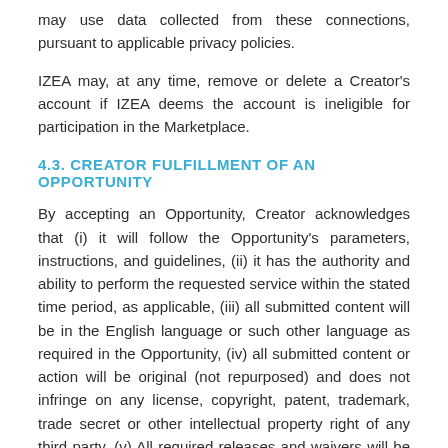may use data collected from these connections, pursuant to applicable privacy policies.
IZEA may, at any time, remove or delete a Creator's account if IZEA deems the account is ineligible for participation in the Marketplace.
4.3. CREATOR FULFILLMENT OF AN OPPORTUNITY
By accepting an Opportunity, Creator acknowledges that (i) it will follow the Opportunity's parameters, instructions, and guidelines, (ii) it has the authority and ability to perform the requested service within the stated time period, as applicable, (iii) all submitted content will be in the English language or such other language as required in the Opportunity, (iv) all submitted content or action will be original (not repurposed) and does not infringe on any license, copyright, patent, trademark, trade secret or other intellectual property right of any third party, (v) All required releases and waivers will be timely executed and submitted, (vi) All ads will be disabled in paid social media posts, (vii) all submitted content or action is in compliance with the